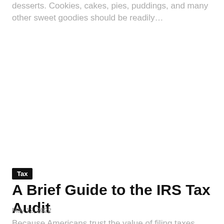desserts. Cookies, cakes, pies, puddings, and many other sweet goodies should be readily…
Tax
A Brief Guide to the IRS Tax Audit
May 12, 2022
Because Americans trust the value of filing taxes correctly, they…